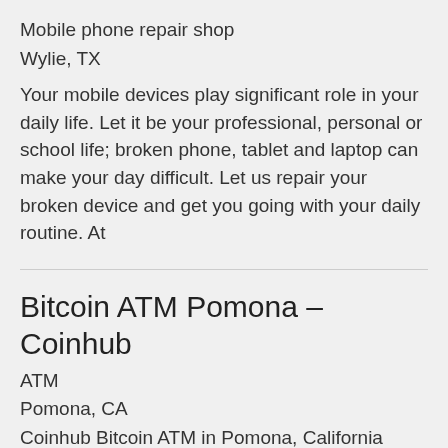Mobile phone repair shop
Wylie, TX
Your mobile devices play significant role in your daily life. Let it be your professional, personal or school life; broken phone, tablet and laptop can make your day difficult. Let us repair your broken device and get you going with your daily routine. At
Bitcoin ATM Pomona – Coinhub
ATM
Pomona, CA
Coinhub Bitcoin ATM in Pomona, California